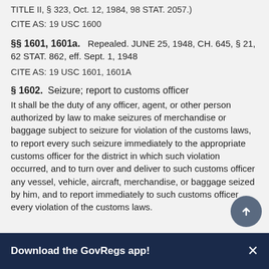TITLE II, § 323, Oct. 12, 1984, 98 STAT. 2057.)
CITE AS: 19 USC 1600
§§ 1601, 1601a.   Repealed. JUNE 25, 1948, CH. 645, § 21, 62 STAT. 862, eff. Sept. 1, 1948
CITE AS: 19 USC 1601, 1601A
§ 1602.   Seizure; report to customs officer
It shall be the duty of any officer, agent, or other person authorized by law to make seizures of merchandise or baggage subject to seizure for violation of the customs laws, to report every such seizure immediately to the appropriate customs officer for the district in which such violation occurred, and to turn over and deliver to such customs officer any vessel, vehicle, aircraft, merchandise, or baggage seized by him, and to report immediately to such customs officer every violation of the customs laws.
Download the GovRegs app!